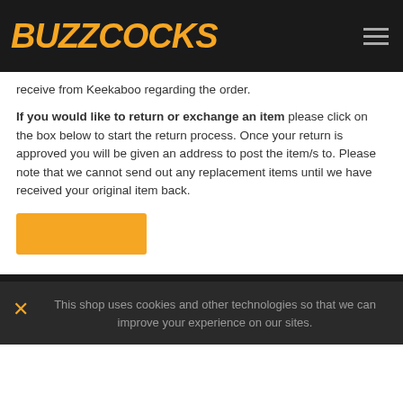[Figure (logo): Buzzcocks logo in orange italic bold text on black background with hamburger menu icon]
receive from Keekaboo regarding the order.
If you would like to return or exchange an item please click on the box below to start the return process. Once your return is approved you will be given an address to post the item/s to. Please note that we cannot send out any replacement items until we have received your original item back.
[Figure (other): Orange rectangular button]
This shop uses cookies and other technologies so that we can improve your experience on our sites.